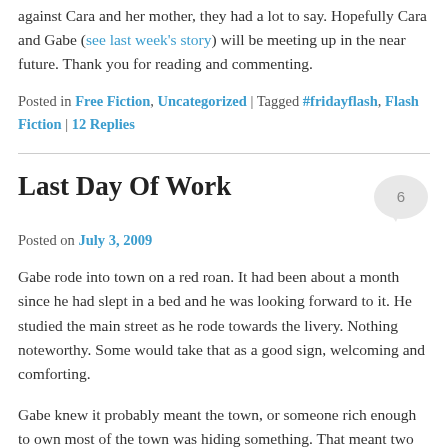against Cara and her mother, they had a lot to say. Hopefully Cara and Gabe (see last week's story) will be meeting up in the near future. Thank you for reading and commenting.
Posted in Free Fiction, Uncategorized | Tagged #fridayflash, Flash Fiction | 12 Replies
Last Day Of Work
Posted on July 3, 2009
Gabe rode into town on a red roan. It had been about a month since he had slept in a bed and he was looking forward to it. He studied the main street as he rode towards the livery. Nothing noteworthy. Some would take that as a good sign, welcoming and comforting.
Gabe knew it probably meant the town, or someone rich enough to own most of the town was hiding something. That meant two things to Gabe. One, his employer was